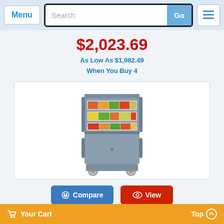Menu | Search | Go
$2,023.69
As Low As $1,982.49 When You Buy 4
[Figure (photo): A Cambro UPC1600SP-401 ultra pan carrier cart on wheels, slate blue/grey color, with open top compartment showing food trays and closed bottom compartment with latch.]
Compare  View
Item #: UPC1600SP-401
Your Cart   Top